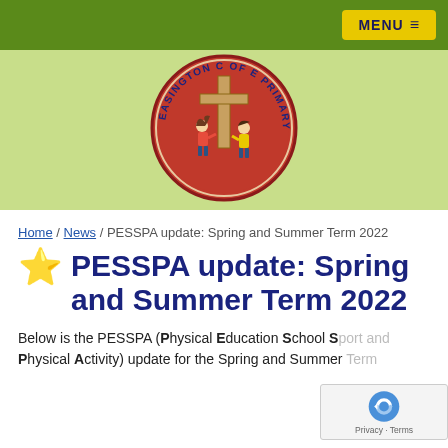MENU
[Figure (logo): Easington C of E Primary School circular logo with red background, a wooden cross, and two children standing beside it. Text around the circle reads 'EASINGTON C OF E PRIMARY SCHOOL'.]
Home / News / PESSPA update: Spring and Summer Term 2022
PESSPA update: Spring and Summer Term 2022
Below is the PESSPA (Physical Education School S... Physical Activity) update for the Spring and Summer Term...